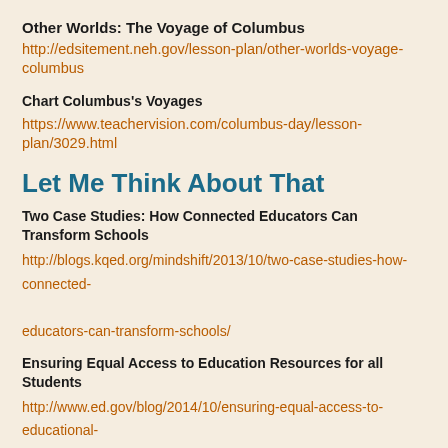Other Worlds: The Voyage of Columbus
http://edsitement.neh.gov/lesson-plan/other-worlds-voyage-columbus
Chart Columbus's Voyages
https://www.teachervision.com/columbus-day/lesson-plan/3029.html
Let Me Think About That
Two Case Studies: How Connected Educators Can Transform Schools
http://blogs.kqed.org/mindshift/2013/10/two-case-studies-how-connected-educators-can-transform-schools/
Ensuring Equal Access to Education Resources for all Students
http://www.ed.gov/blog/2014/10/ensuring-equal-access-to-educational-resources-for-all-students/